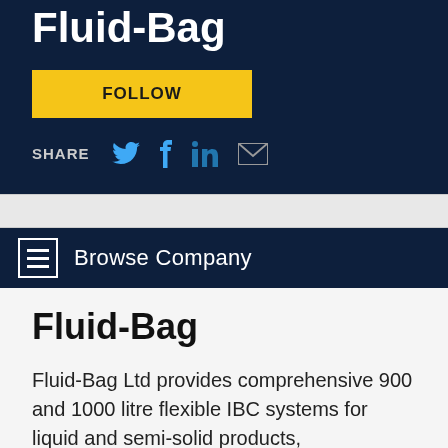Fluid-Bag
FOLLOW
SHARE
[Figure (screenshot): Social media share icons: Twitter bird, Facebook f, LinkedIn in, email envelope]
[Figure (infographic): Browse Company navigation bar with hamburger menu icon]
Fluid-Bag
Fluid-Bag Ltd provides comprehensive 900 and 1000 litre flexible IBC systems for liquid and semi-solid products,